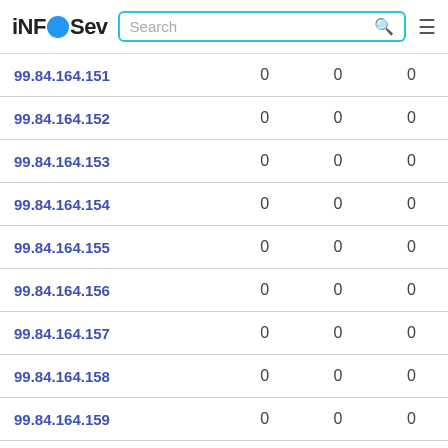iNFOSev [search bar] [menu]
| IP | col1 | col2 | col3 |
| --- | --- | --- | --- |
| 99.84.164.151 | 0 | 0 | 0 |
| 99.84.164.152 | 0 | 0 | 0 |
| 99.84.164.153 | 0 | 0 | 0 |
| 99.84.164.154 | 0 | 0 | 0 |
| 99.84.164.155 | 0 | 0 | 0 |
| 99.84.164.156 | 0 | 0 | 0 |
| 99.84.164.157 | 0 | 0 | 0 |
| 99.84.164.158 | 0 | 0 | 0 |
| 99.84.164.159 | 0 | 0 | 0 |
| 99.84.164.160 | 0 | 0 | 0 |